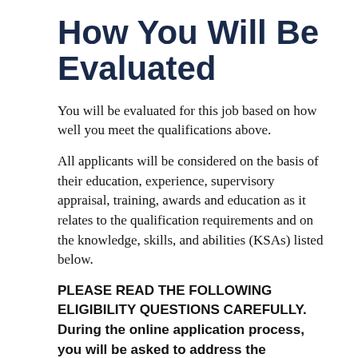How You Will Be Evaluated
You will be evaluated for this job based on how well you meet the qualifications above.
All applicants will be considered on the basis of their education, experience, supervisory appraisal, training, awards and education as it relates to the qualification requirements and on the knowledge, skills, and abilities (KSAs) listed below.
PLEASE READ THE FOLLOWING ELIGIBILITY QUESTIONS CAREFULLY. During the online application process, you will be asked to address the following items:
1. Describe your ability to communicate orally being